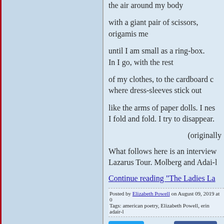the air around my body

with a giant pair of scissors,
origamis me

until I am small as a ring-box.
In I go, with the rest

of my clothes, to the cardboard c
where dress-sleeves stick out

like the arms of paper dolls. I nes
I fold and fold. I try to disappear.
(originally
What follows here is an interview
Lazarus Tour. Molberg and Adai-l
Continue reading "The Ladies La
Posted by Elizabeth Powell on August 09, 2019 at 0
Tags: american poetry, Elizabeth Powell, erin adair-l